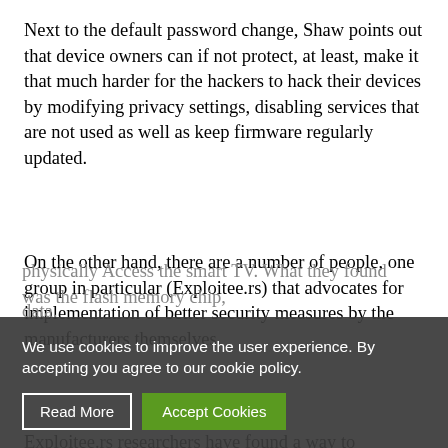Next to the default password change, Shaw points out that device owners can if not protect, at least, make it that much harder for the hackers to hack their devices by modifying privacy settings, disabling services that are not used as well as keep firmware regularly updated.
On the other hand, there are a number of people, one group in particular (Exploitee.rs) that advocates for implementation of better security measures by the manufacturers themselves.
Exploitee.rs researchers have found a way to physically Access the smart TV. What they found was the flash memory chip, data...
We use cookies to improve the user experience. By accepting you agree to our cookie policy.